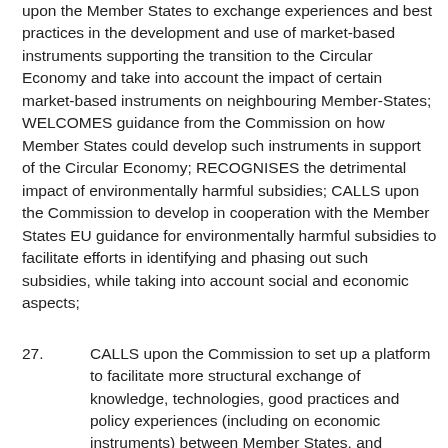upon the Member States to exchange experiences and best practices in the development and use of market-based instruments supporting the transition to the Circular Economy and take into account the impact of certain market-based instruments on neighbouring Member-States; WELCOMES guidance from the Commission on how Member States could develop such instruments in support of the Circular Economy; RECOGNISES the detrimental impact of environmentally harmful subsidies; CALLS upon the Commission to develop in cooperation with the Member States EU guidance for environmentally harmful subsidies to facilitate efforts in identifying and phasing out such subsidies, while taking into account social and economic aspects;
27.    CALLS upon the Commission to set up a platform to facilitate more structural exchange of knowledge, technologies, good practices and policy experiences (including on economic instruments) between Member States, and between stakeholders at European level, making use, where possible, of existing platforms and experiences."